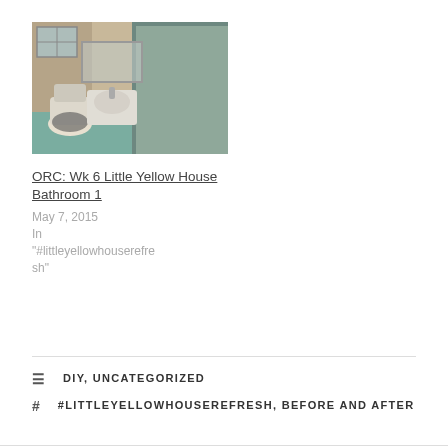[Figure (photo): Interior bathroom photo showing toilet, sink, and shower stall with beige walls and teal/green floor tiles]
ORC: Wk 6 Little Yellow House Bathroom 1
May 7, 2015
In "#littleyellowhouserefresh"
DIY, UNCATEGORIZED
#LITTLEYELLOWHOUSEREFRESH, BEFORE AND AFTER